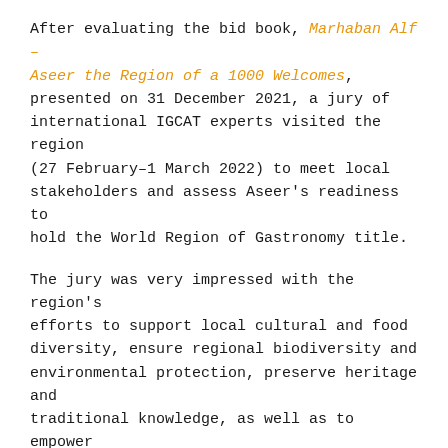After evaluating the bid book, Marhaban Alf – Aseer the Region of a 1000 Welcomes, presented on 31 December 2021, a jury of international IGCAT experts visited the region (27 February–1 March 2022) to meet local stakeholders and assess Aseer's readiness to hold the World Region of Gastronomy title.
The jury was very impressed with the region's efforts to support local cultural and food diversity, ensure regional biodiversity and environmental protection, preserve heritage and traditional knowledge, as well as to empower the younger generations to create innovative products and services to attract sustainable tourism.
On this basis, they recommended the region for the title and suggested that they passed to the following stage in their candidacy: presenting a detailed action plan including projects, events